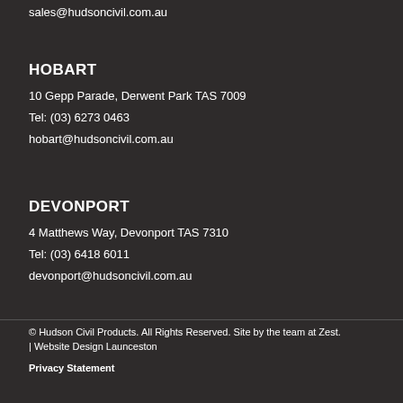sales@hudsoncivil.com.au
HOBART
10 Gepp Parade, Derwent Park TAS 7009
Tel: (03) 6273 0463
hobart@hudsoncivil.com.au
DEVONPORT
4 Matthews Way, Devonport TAS 7310
Tel: (03) 6418 6011
devonport@hudsoncivil.com.au
© Hudson Civil Products. All Rights Reserved. Site by the team at Zest. | Website Design Launceston
Privacy Statement